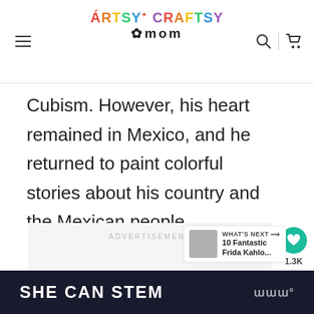Artsy Craftsy Mom
Cubism. However, his heart remained in Mexico, and he returned to paint colorful stories about his country and the Mexican people.
[Figure (other): Advertisement placeholder area with ADVERTISEMENT label]
[Figure (other): What's Next widget: 10 Fantastic Frida Kahlo...]
[Figure (other): SHE CAN STEM banner advertisement at bottom]